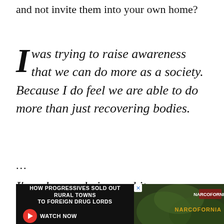and not invite them into your own home?
I was trying to raise awareness that we can do more as a society. Because I do feel we are able to do more than just recovering bodies.
...
I'm a human being and it was a human crisis and I got over-excited and said things in a rather grand manner some m...
[Figure (screenshot): Advertisement banner: HOW PROGRESSIVES SOLD OUT RURAL TOWNS TO FOREIGN DRUG LORDS — NARCOFORNIA — WATCH NOW]